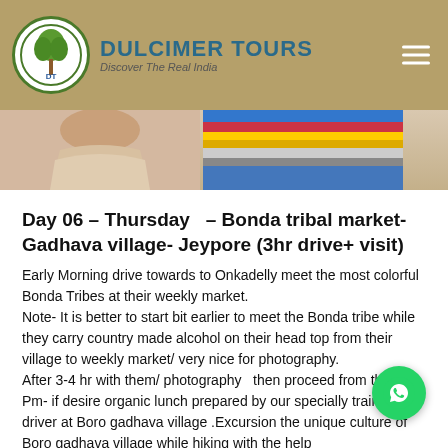DULCIMER TOURS - Discover The Real India
[Figure (photo): Two cropped photos side by side: left shows a person wearing a beige/tan draped fabric garment, right shows colorful beaded necklaces/jewelry in blue, red, yellow colors — tribal adornments]
Day 06 – Thursday  – Bonda tribal market- Gadhava village- Jeypore (3hr drive+ visit)
Early Morning drive towards to Onkadelly meet the most colorful Bonda Tribes at their weekly market.
Note- It is better to start bit earlier to meet the Bonda tribe while they carry country made alcohol on their head top from their village to weekly market/ very nice for photography.
After 3-4 hr with them/ photography  then proceed from there.
Pm- if desire organic lunch prepared by our specially trained driver at Boro gadhava village .Excursion the unique culture of Boro gadhava village while hiking with the help